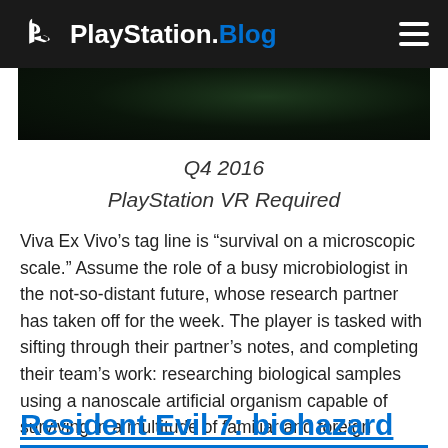PlayStation.Blog
[Figure (photo): Dark microscopic environment screenshot from Viva Ex Vivo game]
Q4 2016
PlayStation VR Required
Viva Ex Vivo’s tag line is “survival on a microscopic scale.” Assume the role of a busy microbiologist in the not-so-distant future, whose research partner has taken off for the week. The player is tasked with sifting through their partner’s notes, and completing their team’s work: researching biological samples using a nanoscale artificial organism capable of surviving in a multitude of familiar and foreign microscopic environments.
Resident Evil 7: biohazard